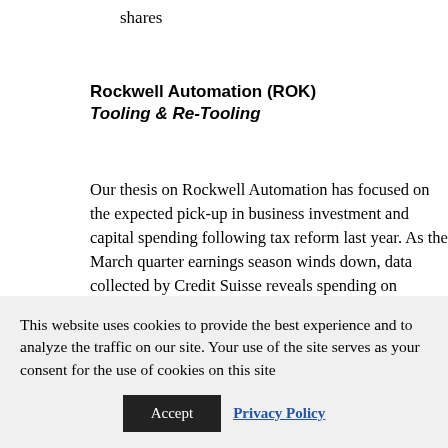shares
Rockwell Automation (ROK)
Tooling & Re-Tooling
Our thesis on Rockwell Automation has focused on the expected pick-up in business investment and capital spending following tax reform last year. As the March quarter earnings season winds down, data collected by Credit Suisse reveals spending on factories, equipment and other capital goods by companies in
This website uses cookies to provide the best experience and to analyze the traffic on our site. Your use of the site serves as your consent for the use of cookies on this site
Accept
Privacy Policy